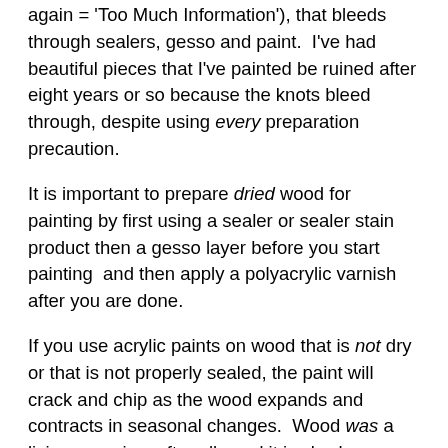again = 'Too Much Information'), that bleeds through sealers, gesso and paint.  I've had beautiful pieces that I've painted be ruined after eight years or so because the knots bleed through, despite using every preparation precaution.
It is important to prepare dried wood for painting by first using a sealer or sealer stain product then a gesso layer before you start painting  and then apply a polyacrylic varnish after you are done.
If you use acrylic paints on wood that is not dry or that is not properly sealed, the paint will crack and chip as the wood expands and contracts in seasonal changes.  Wood was a living organism after all,  and it is slowly decomposing, so eventually ALL paint on